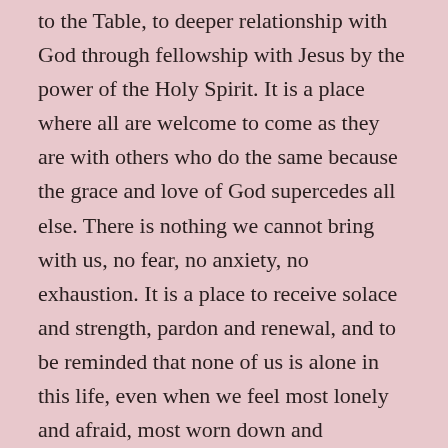to the Table, to deeper relationship with God through fellowship with Jesus by the power of the Holy Spirit. It is a place where all are welcome to come as they are with others who do the same because the grace and love of God supercedes all else. There is nothing we cannot bring with us, no fear, no anxiety, no exhaustion. It is a place to receive solace and strength, pardon and renewal, and to be reminded that none of us is alone in this life, even when we feel most lonely and afraid, most worn down and exhausted. It is a place to be both fully who we are and who we strive to be.
The Table is a place to meet Jesus and to be reminded that the hurting and the maiming and the killing will not have the last word. It is a place of hope. It is a